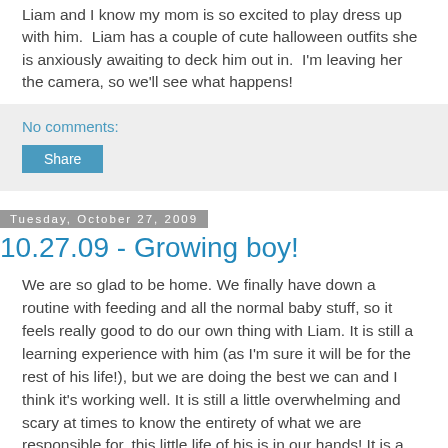Liam and I know my mom is so excited to play dress up with him. Liam has a couple of cute halloween outfits she is anxiously awaiting to deck him out in. I'm leaving her the camera, so we'll see what happens!
No comments:
Share
Tuesday, October 27, 2009
10.27.09 - Growing boy!
We are so glad to be home. We finally have down a routine with feeding and all the normal baby stuff, so it feels really good to do our own thing with Liam. It is still a learning experience with him (as I'm sure it will be for the rest of his life!), but we are doing the best we can and I think it's working well. It is still a little overwhelming and scary at times to know the entirety of what we are responsible for, this little life of his is in our hands! It is a faith walk everyday for the Lord to calm my spirit and give me peace and strength to do